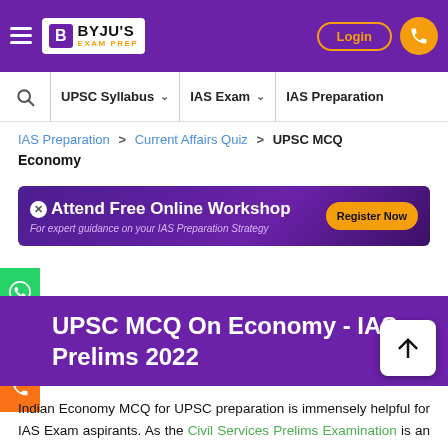[Figure (screenshot): BYJU'S Exam Prep website header with purple background, hamburger menu, logo, Login button, and phone icon]
BYJU'S EXAM PREP | Login
UPSC Syllabus ∨  IAS Exam ∨  IAS Preparation
IAS Preparation > Current Affairs Quiz > UPSC MCQ Economy
[Figure (infographic): Purple banner: Attend Free Online Workshop - For expert guidance on your IAS Preparation Strategy. Register Now button.]
UPSC MCQ On Economy - IAS Prelims 2022
Indian Economy MCQ for UPSC preparation is immensely helpful for IAS Exam aspirants. As the Civil Services Prelims Examination is an objective-type paper that also carries negative marking; we have compiled a list of UPSC MCQ to